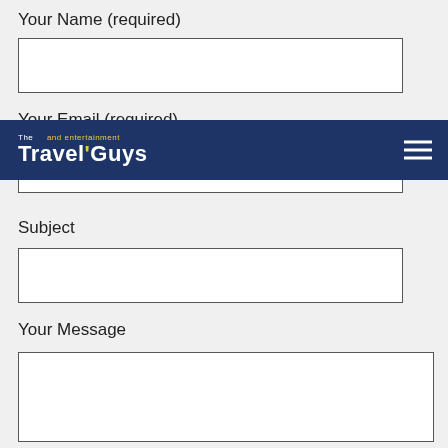Your Name (required)
Your Email (required)
[Figure (screenshot): Navigation bar overlay for 'The Travel Guys and entertainment' website with dark navy blue background, logo text in white and yellow, and hamburger menu icon on right]
Subject
Your Message